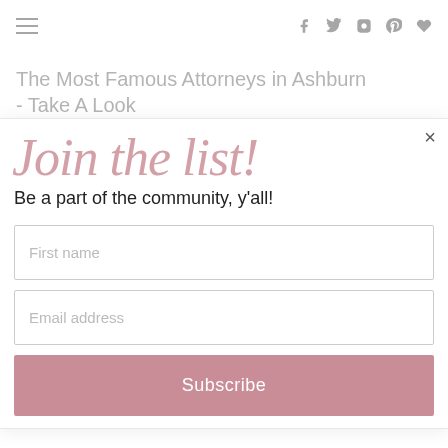Navigation bar with hamburger menu and social icons (f, Twitter, Instagram, Pinterest, heart)
The Most Famous Attorneys in Ashburn - Take A Look
Attorneys | Search Ads
Join the list!
Be a part of the community, y'all!
First name
Email address
Subscribe